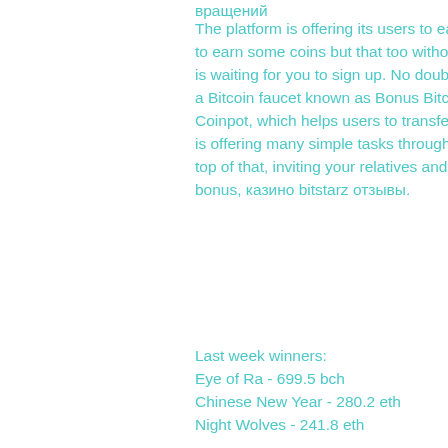вращений
The platform is offering its users to earn easy money, and if you are someone who is looking to earn some coins but that too without playing any games or difficult tasks, then BTCClicks is waiting for you to sign up. No doubt it is surely worth your time and energy. Next, we have a Bitcoin faucet known as Bonus Bitcoin. It is another Bitcoin faucet that is affiliated with Coinpot, which helps users to transfer their bitcoins directly in their micro wallet. The platform is offering many simple tasks through which you can earn some pretty good rewards, and on top of that, inviting your relatives and friends to this platform is going to give you a 50% extra bonus, казино bitstarz отзывы.
Last week winners:
Eye of Ra - 699.5 bch
Chinese New Year - 280.2 eth
Night Wolves - 241.8 eth